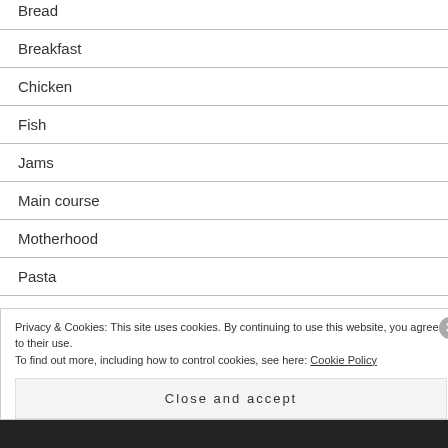Bread
Breakfast
Chicken
Fish
Jams
Main course
Motherhood
Pasta
Privacy & Cookies: This site uses cookies. By continuing to use this website, you agree to their use.
To find out more, including how to control cookies, see here: Cookie Policy
Close and accept